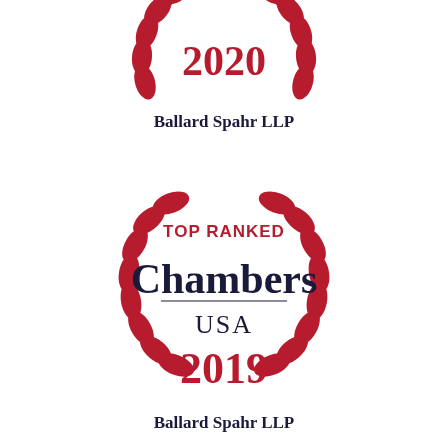[Figure (logo): Chambers USA 2020 Top Ranked badge with red laurel wreath and year 2020 in red, partially cropped at top]
Ballard Spahr LLP
[Figure (logo): Chambers USA 2019 Top Ranked badge with red laurel wreath, TOP RANKED in red, Chambers in dark navy serif, USA in navy, 2019 in red]
Ballard Spahr LLP